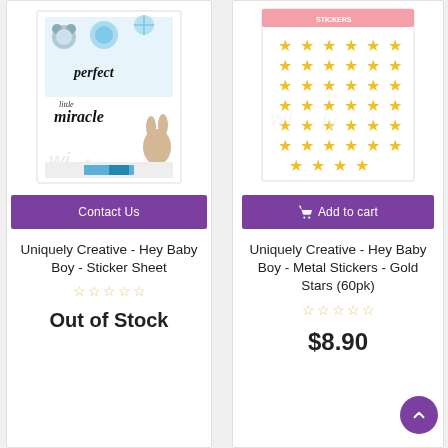[Figure (photo): Product image of Uniquely Creative Hey Baby Boy Sticker Sheet showing baby-themed stickers with text 'perfect' and 'little miracle']
Contact Us
Uniquely Creative - Hey Baby Boy - Sticker Sheet
Out of Stock
[Figure (photo): Product image of Uniquely Creative Hey Baby Boy Metal Stickers Gold Stars (60pk) showing rows of gold star stickers on white card]
Add to cart
Uniquely Creative - Hey Baby Boy - Metal Stickers - Gold Stars (60pk)
$8.90